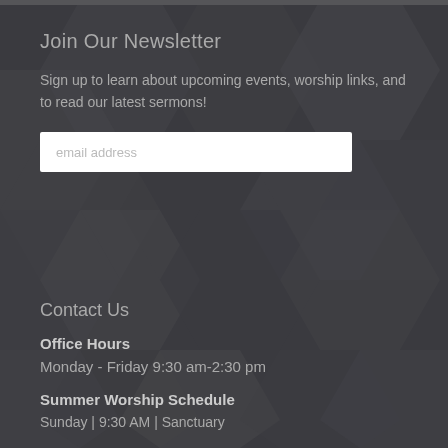Join Our Newsletter
Sign up to learn about upcoming events, worship links, and to read our latest sermons!
Contact Us
Office Hours
Monday - Friday 9:30 am-2:30 pm
Summer Worship Schedule
Sunday | 9:30 AM | Sanctuary